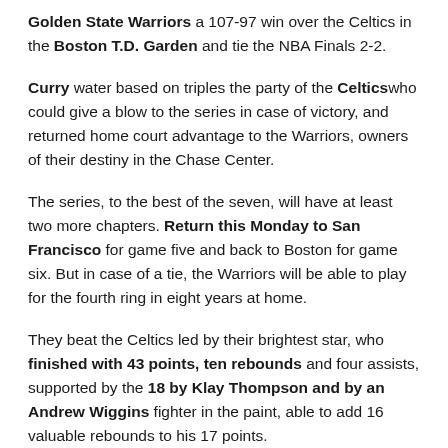Golden State Warriors a 107-97 win over the Celtics in the Boston T.D. Garden and tie the NBA Finals 2-2.
Curry water based on triples the party of the Celtics who could give a blow to the series in case of victory, and returned home court advantage to the Warriors, owners of their destiny in the Chase Center.
The series, to the best of the seven, will have at least two more chapters. Return this Monday to San Francisco for game five and back to Boston for game six. But in case of a tie, the Warriors will be able to play for the fourth ring in eight years at home.
They beat the Celtics led by their brightest star, who finished with 43 points, ten rebounds and four assists, supported by the 18 by Klay Thompson and by an Andrew Wiggins fighter in the paint, able to add 16 valuable rebounds to his 17 points.
The Celtics gave up despite the double double of 23 points,